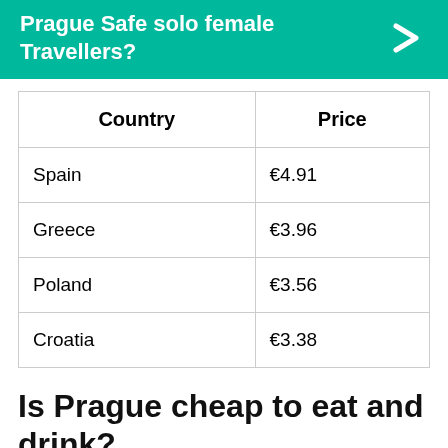Prague Safe solo female Travellers?
| Country | Price |
| --- | --- |
| Spain | €4.91 |
| Greece | €3.96 |
| Poland | €3.56 |
| Croatia | €3.38 |
Is Prague cheap to eat and drink?
For most of the tourists (I mean especially western Europeans, US) Prague should be cheaper (probably much cheaper) than at